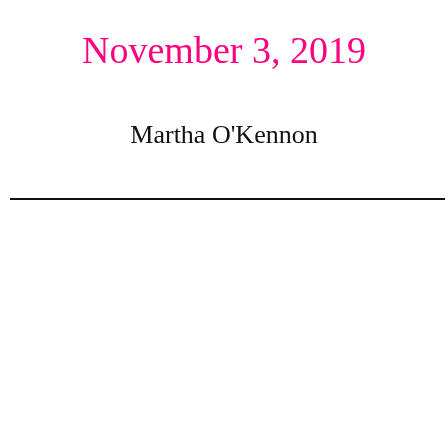November 3, 2019
Martha O'Kennon